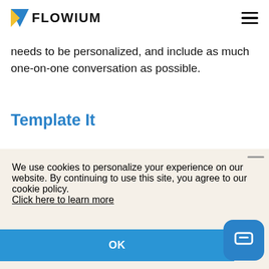FLOWIUM
needs to be personalized, and include as much one-on-one conversation as possible.
Template It
We use cookies to personalize your experience on our website. By continuing to use this site, you agree to our cookie policy.
Click here to learn more
OK
do it themselves.